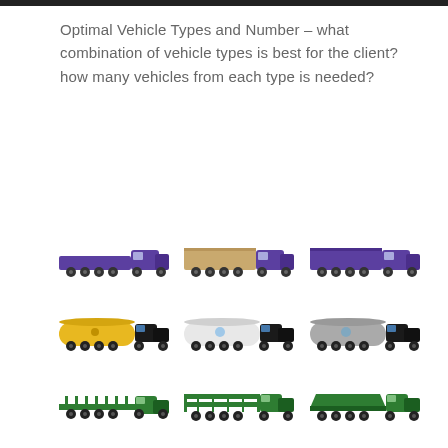Optimal Vehicle Types and Number – what combination of vehicle types is best for the client? how many vehicles from each type is needed?
[Figure (illustration): Nine trucks arranged in a 3x3 grid showing different vehicle types: row 1 - purple flatbed trailer trucks; row 2 - tank trucks (yellow, white, gray); row 3 - green logging/flatbed/enclosed trailers with green cabs]